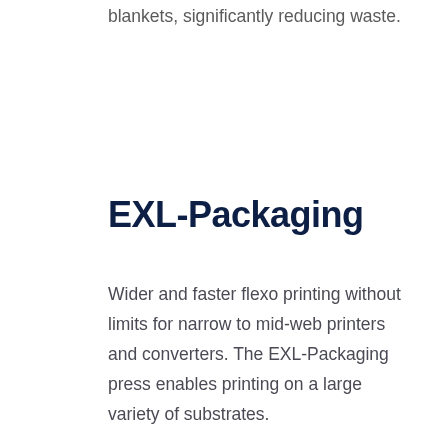blankets, significantly reducing waste.
EXL-Packaging
Wider and faster flexo printing without limits for narrow to mid-web printers and converters. The EXL-Packaging press enables printing on a large variety of substrates.